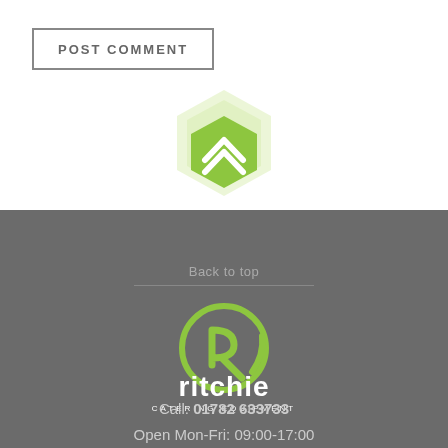POST COMMENT
[Figure (illustration): Back to top button with hexagonal icon showing upward chevron arrow, in green, with 'Back to top' text label below and a horizontal line]
[Figure (logo): Ritchie Catering Equipment logo - green circular R symbol with 'ritchie' in white lowercase and 'CATERING EQUIPMENT' in small white caps below]
Call: 01782 633733
Open Mon-Fri: 09:00-17:00